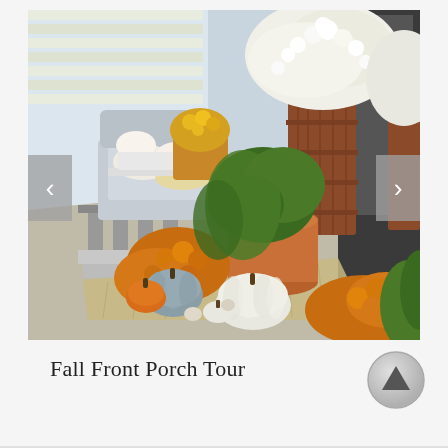[Figure (photo): A fall-decorated front porch with white mums in wooden barrel planters, orange chrysanthemums in terracotta pots, assorted pumpkins (white, blue-grey, and orange) arranged on a burlap mat, wicker furniture with cushions and a cozy blanket, and green foliage plants. Navigation arrows (< and >) are overlaid on the left and right sides of the image.]
Fall Front Porch Tour